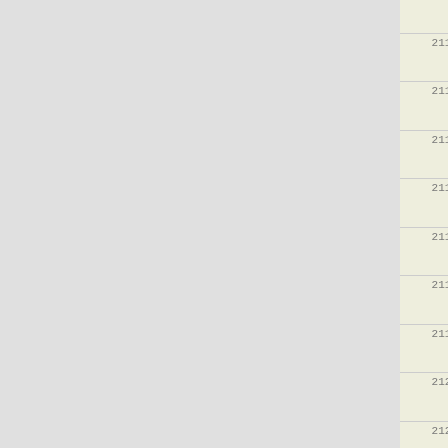| row_id | data |
| --- | --- |
|  | 0.020E+00  0.723E-01  0.772E-03 |
|  | 0.000      0.000           0 |
| 2113 | 0  19205  03:10:30.09    0.6070A |
|  | 0.819E+00  0.726E-01  0.757E-03 |
|  | 0.000      0.000           0 |
| 2114 | 0  19215  03:10:36.16    0.6100A |
|  | 0.818E+00  0.727E-01  0.754E-03 |
|  | 0.000      0.000           0 |
| 2115 | 0  19225  03:10:42.28    0.6150A |
|  | 0.817E+00  0.729E-01  0.764E-03 |
|  | 0.000      0.000           0 |
| 2116 | 0  19235  03:10:48.46    0.6200A |
|  | 0.816E+00  0.731E-01  0.768E-03 |
|  | 0.000      0.000           0 |
| 2117 | 0  19244  03:10:54.02    0.6190A |
|  | 0.815E+00  0.733E-01  0.763E-03 |
|  | 0.000      0.000           0 |
| 2118 | 0  19254  03:11:00.25    0.6230A |
|  | 0.815E+00  0.735E-01  0.760E-03 |
|  | 0.000      0.000           0 |
| 2119 | 0  19264  03:11:06.42    0.6140A |
|  | 0.814E+00  0.736E-01  0.740E-03 |
|  | 0.000      0.000           0 |
| 2120 | 0  19273  03:11:12.04    0.6300A |
|  | 0.814E+00  0.739E-01  0.749E-03 |
|  | 0.000      0.000           0 |
| 2121 | 0  19283  03:11:18.31    0.6300A |
|  | 0.813E+00  0.742E-01  0.744E-03 |
|  | 0.000      0.000           0 |
| 2122 | 0  19292  03:11:24.01    0.6390A |
|  | 0.813E+00  0.745E-01  0.757E-03 |
|  | 0.000      0.000           0 |
| 2123 | 0  19302  03:11:30.20    0.6020A |
|  | 0.813E+00  0.748E-01  0.718E-03 |
|  | 0.000      0.000           0 |
| 2124 | 0  19312  03:11:36.21    0.5950A |